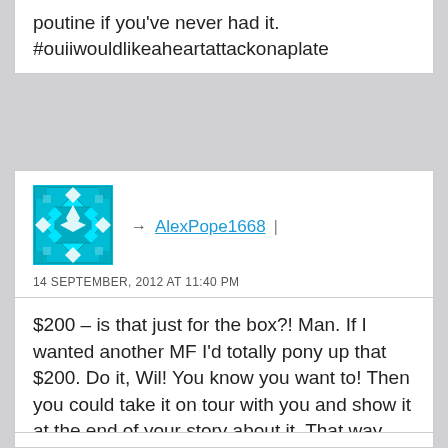poutine if you've never had it. #ouiiwouldlikeaheartattackonaplate
[Figure (illustration): Cyan/teal geometric avatar icon with hexagonal/diamond pattern]
→ AlexPope1668 |
14 SEPTEMBER, 2012 AT 11:40 PM
$200 – is that just for the box?! Man. If I wanted another MF I'd totally pony up that $200. Do it, Wil! You know you want to! Then you could take it on tour with you and show it at the end of your story about it. That way you could write it off as a business expense too! 🙂